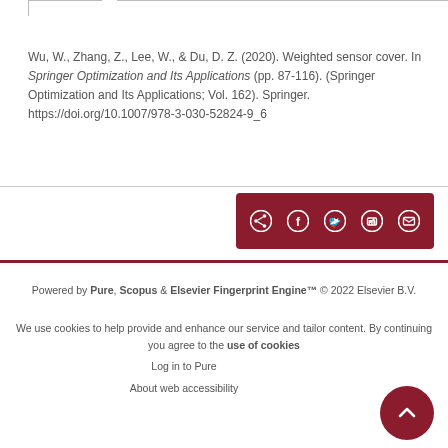Wu, W., Zhang, Z., Lee, W., & Du, D. Z. (2020). Weighted sensor cover. In Springer Optimization and Its Applications (pp. 87-116). (Springer Optimization and Its Applications; Vol. 162). Springer. https://doi.org/10.1007/978-3-030-52824-9_6
[Figure (other): Dark red share bar with icons for share, Facebook, Twitter, LinkedIn, and email]
Powered by Pure, Scopus & Elsevier Fingerprint Engine™ © 2022 Elsevier B.V.
We use cookies to help provide and enhance our service and tailor content. By continuing you agree to the use of cookies
Log in to Pure
About web accessibility